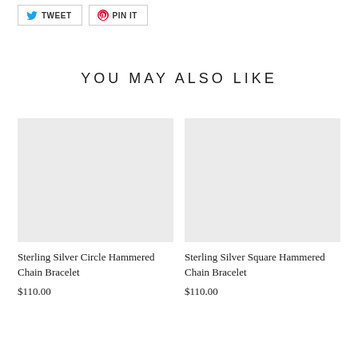[Figure (other): Tweet social sharing button with Twitter bird icon]
[Figure (other): Pin It social sharing button with Pinterest icon]
YOU MAY ALSO LIKE
[Figure (photo): Sterling Silver Circle Hammered Chain Bracelet product image placeholder (light gray background)]
Sterling Silver Circle Hammered Chain Bracelet
$110.00
[Figure (photo): Sterling Silver Square Hammered Chain Bracelet product image placeholder (light gray background)]
Sterling Silver Square Hammered Chain Bracelet
$110.00